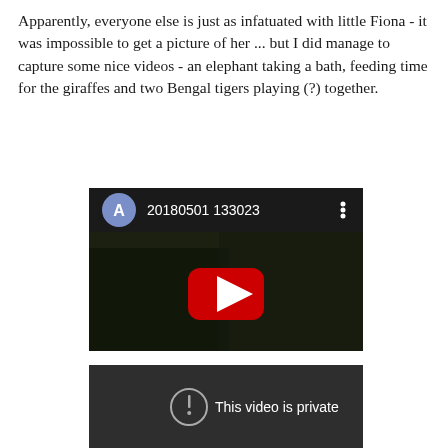Apparently, everyone else is just as infatuated with little Fiona - it was impossible to get a picture of her ... but I did manage to capture some nice videos - an elephant taking a bath, feeding time for the giraffes and two Bengal tigers playing (?) together.
[Figure (screenshot): Video thumbnail showing a YouTube-style video player with header showing avatar circle 'A' and title '20180501 133023' with a three-dot menu. The thumbnail shows a dark scene with a red YouTube play button in the center.]
[Figure (screenshot): Dark video player showing a private video error: a circle with exclamation mark icon and text 'This video is private'.]